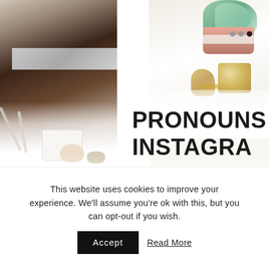[Figure (photo): Screenshot of a website showing a Black woman working at a desk on the left side, and a styled desk with succulent plant and gold decorative items on the right side. Bold text overlay reads 'PRONOUNS ON INSTAGRAM'. Below that, italic text reads 'what is the new'. Navigation dots visible in upper right area.]
This website uses cookies to improve your experience. We'll assume you're ok with this, but you can opt-out if you wish.
Accept
Read More